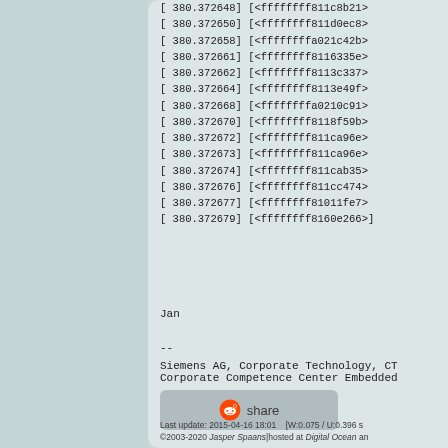[ 380.372648] [<ffffffff811c8b21>
[ 380.372650] [<ffffffff811d0ec8>
[ 380.372658] [<ffffffffa021c42b>
[ 380.372661] [<ffffffff8116335e>
[ 380.372662] [<ffffffff8113c337>
[ 380.372664] [<ffffffff8113e49f>
[ 380.372668] [<ffffffffa0210c91>
[ 380.372670] [<ffffffff8118f59b>
[ 380.372672] [<ffffffff811ca96e>
[ 380.372673] [<ffffffff811ca96e>
[ 380.372674] [<ffffffff811cab35>
[ 380.372676] [<ffffffff811cc474>
[ 380.372677] [<ffffffff81011fe7>
[ 380.372679] [<ffffffff8160e266>]
Jan
--
Siemens AG, Corporate Technology, CT
Corporate Competence Center Embedded
[Figure (other): Reddit share button]
Last update: 2015-04-16 18:01    [W:0.075 / U:0.396 s
©2003-2020 Jasper Spaans|hosted at Digital Ocean an